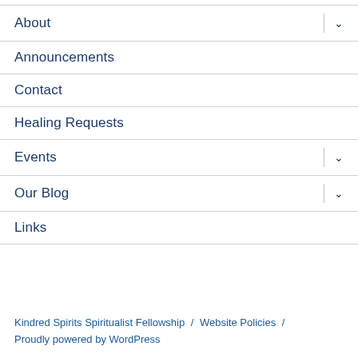About
Announcements
Contact
Healing Requests
Events
Our Blog
Links
Kindred Spirits Spiritualist Fellowship / Website Policies / Proudly powered by WordPress